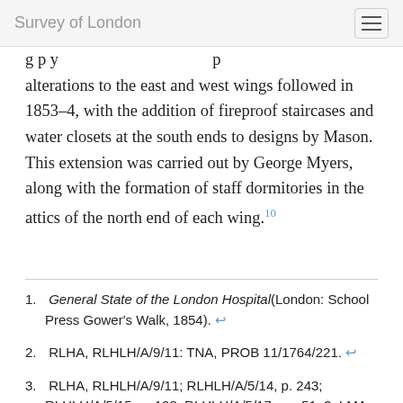Survey of London
alterations to the east and west wings followed in 1853–4, with the addition of fireproof staircases and water closets at the south ends to designs by Mason. This extension was carried out by George Myers, along with the formation of staff dormitories in the attics of the north end of each wing.10
1. General State of the London Hospital(London: School Press Gower's Walk, 1854). ↩
2. RLHA, RLHLH/A/9/11: TNA, PROB 11/1764/221. ↩
3. RLHA, RLHLH/A/9/11; RLHLH/A/5/14, p. 243; RLHLH/A/5/15, p. 108; RLHLH/A/5/17, pp. 51–2: LMA, COL/CHD/FR/02/1448, 1452. ↩